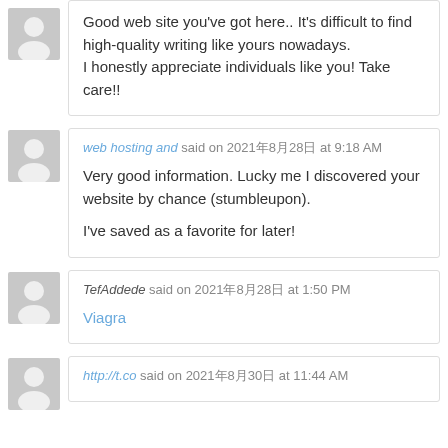Good web site you've got here.. It's difficult to find high-quality writing like yours nowadays. I honestly appreciate individuals like you! Take care!!
web hosting and said on 2021年8月28日 at 9:18 AM
Very good information. Lucky me I discovered your website by chance (stumbleupon).
I've saved as a favorite for later!
TefAddede said on 2021年8月28日 at 1:50 PM
Viagra
http://t.co said on 2021年8月30日 at 11:44 AM